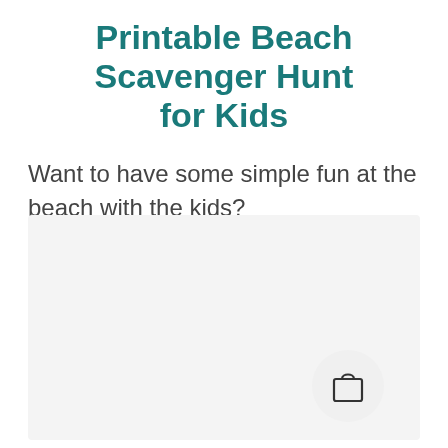Printable Beach Scavenger Hunt for Kids
Want to have some simple fun at the beach with the kids?
[Figure (other): Light gray rectangular placeholder image area with a shopping bag icon button in a circular button in the lower right corner]